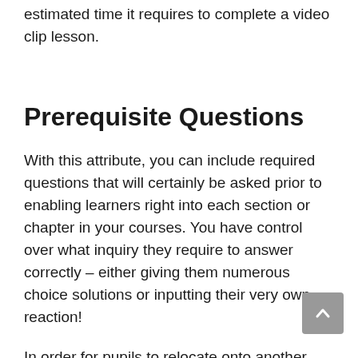estimated time it requires to complete a video clip lesson.
Prerequisite Questions
With this attribute, you can include required questions that will certainly be asked prior to enabling learners right into each section or chapter in your courses. You have control over what inquiry they require to answer correctly – either giving them numerous choice solutions or inputting their very own reaction!
In order for pupils to relocate onto another